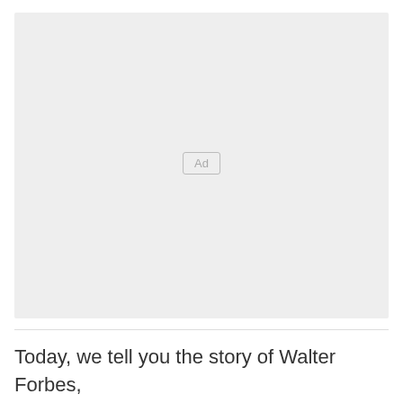[Figure (other): Advertisement placeholder box with 'Ad' label in center]
Today, we tell you the story of Walter Forbes,